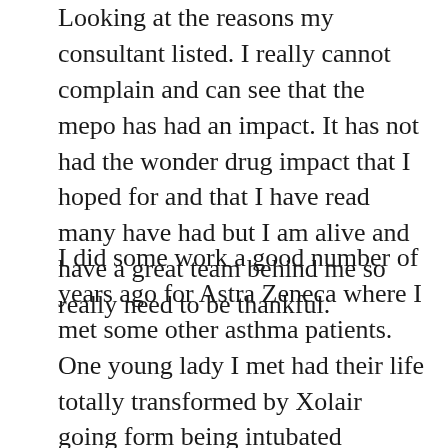Looking at the reasons my consultant listed. I really cannot complain and can see that the mepo has had an impact. It has not had the wonder drug impact that I hoped for and that I have read many have had but I am alive and have a great team behind me so really need to be thankful.
I did some work a good number of years ago for Astra Zeneca where I met some other asthma patients. One young lady I met had their life totally transformed by Xolair going form being intubated numbers times, not being able to work and very disabled by their asthma to having a full time job and minimal asthma issues. I think deep down part of me was desperate to have this effect. I remember thinking after I was told I would start mepo that I might be able to get back to the gym, start running again and playing lacrosse and golf but that has not